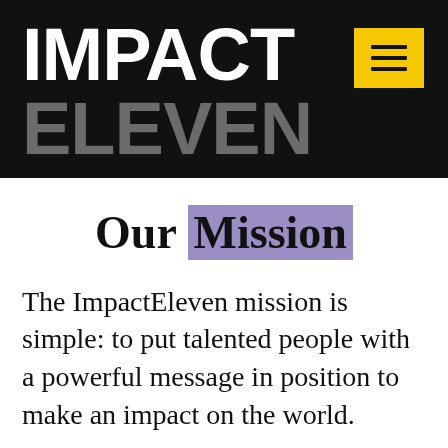IMPACT ELEVEN
Our Mission
The ImpactEleven mission is simple: to put talented people with a powerful message in position to make an impact on the world.